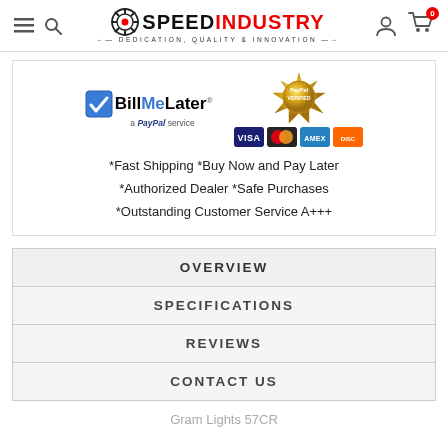SpeedIndustry - Dedication, Quality & Innovation
[Figure (logo): BillMeLater a PayPal service logo and PayPal Verified badge with credit card icons (Visa, Mastercard, Amex, Discover)]
*Fast Shipping *Buy Now and Pay Later *Authorized Dealer *Safe Purchases *Outstanding Customer Service A+++
OVERVIEW
SPECIFICATIONS
REVIEWS
CONTACT US
Gram Lights 57CR